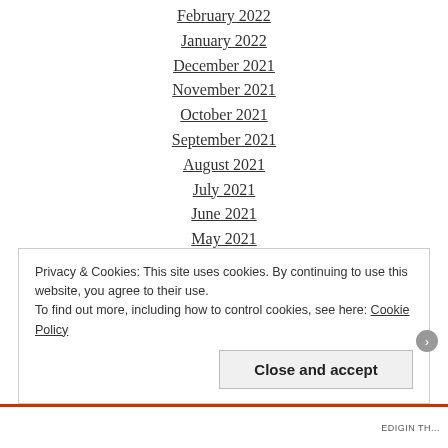February 2022
January 2022
December 2021
November 2021
October 2021
September 2021
August 2021
July 2021
June 2021
May 2021
April 2021
March 2021
February 2021
Privacy & Cookies: This site uses cookies. By continuing to use this website, you agree to their use. To find out more, including how to control cookies, see here: Cookie Policy
Close and accept